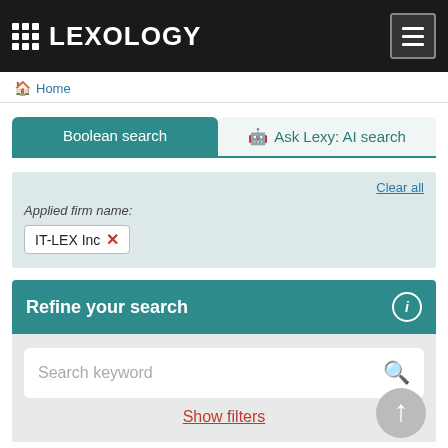LEXOLOGY
Home
Boolean search
Ask Lexy: AI search
Clear all
Applied firm name:
IT-LEX Inc ✕
Refine your search
Search keyword
Show filters